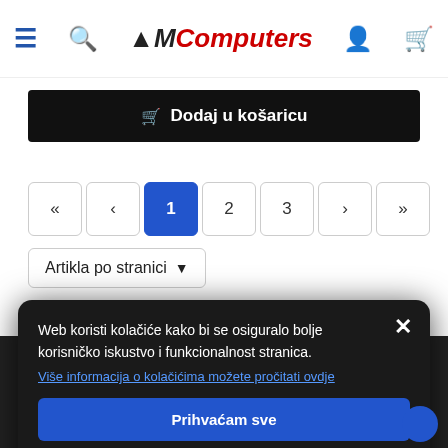M-Computers logo header with hamburger menu, search, user, and cart icons
Dodaj u košaricu
« ‹ 1 2 3 › »
Artikla po stranici ▾
Web koristi kolačiće kako bi se osiguralo bolje korisničko iskustvo i funkcionalnost stranica.
Više informacija o kolačićima možete pročitati ovdje
Prihvaćam sve
Prihvaćam samo neophodno
M-Computers — Cankareva 5, 10000 Zagreb — (01) 37 07 800 — OIB: 20776213746 — info@m-computers.hr
STRANICE